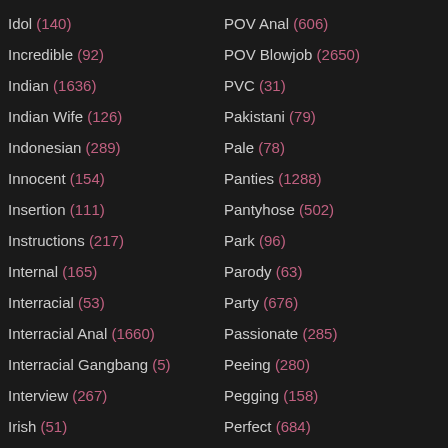Idol (140)
Incredible (92)
Indian (1636)
Indian Wife (126)
Indonesian (289)
Innocent (154)
Insertion (111)
Instructions (217)
Internal (165)
Interracial (53)
Interracial Anal (1660)
Interracial Gangbang (5)
Interview (267)
Irish (51)
Italian (933)
POV Anal (606)
POV Blowjob (2650)
PVC (31)
Pakistani (79)
Pale (78)
Panties (1288)
Pantyhose (502)
Park (96)
Parody (63)
Party (676)
Passionate (285)
Peeing (280)
Pegging (158)
Perfect (684)
Perfect Body (47)